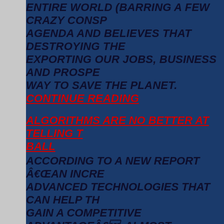ENTIRE WORLD (BARRING A FEW CRAZY CONSP... AGENDA AND BELIEVES THAT DESTROYING THE... EXPORTING OUR JOBS, BUSINESS AND PROSPE... WAY TO SAVE THE PLANET. CONTINUE READING...
ALGORITHMS ARE NO BETTER AT TELLING T... BALL
ACCORDING TO A NEW REPORT “AN INCRE... ADVANCED TECHNOLOGIES THAT CAN HELP TH... GAIN A COMPETITIVE ADVANTAGE”. ALMOST... BY SUPPOSEDLY INTELLIGENT PEOPLE WHO BE... SCIENCE™, ‘ARTIFICIAL INTELLIGENCE,... ALREADY BE RELIED ON TO MAKE BETTER DEC... WILL EQUAL OR EVEN SURPASS US IN ACTUAL...
IN A FIT OF HONESTY ITALIAN INSTITUTE OF...